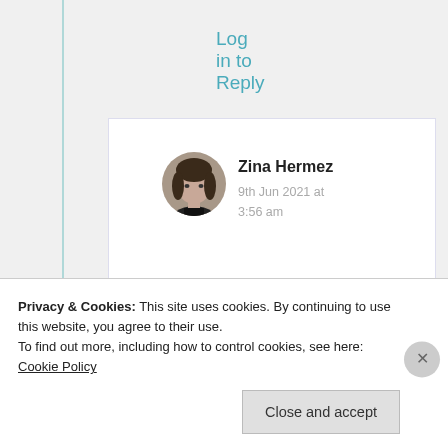Log in to Reply
[Figure (photo): Circular avatar photo of Zina Hermez, a woman with dark hair]
Zina Hermez
9th Jun 2021 at 3:56 am
Aww, thank you! XOXO ❤️🌸💙
Privacy & Cookies: This site uses cookies. By continuing to use this website, you agree to their use.
To find out more, including how to control cookies, see here: Cookie Policy
Close and accept